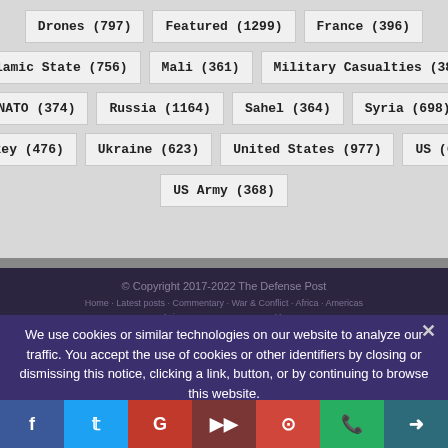Drones (797)
Featured (1299)
France (396)
Islamic State (756)
Mali (361)
Military Casualties (387)
NATO (374)
Russia (1164)
Sahel (364)
Syria (698)
Turkey (476)
Ukraine (623)
United States (977)
US (625)
US Army (368)
© Copyright 2017-2022 The Defense Post
Home · Latest posts · Commentary · War & Conflict · Africa · Americas · Asia · Submit an Op-Ed
We use cookies or similar technologies on our website to analyze our traffic. You accept the use of cookies or other identifiers by closing or dismissing this notice, clicking a link, button, or by continuing to browse this website.
AGREE